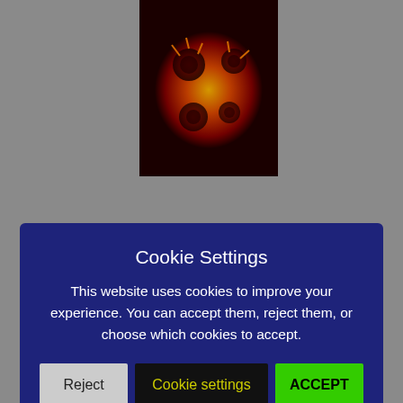[Figure (photo): Close-up microscopic image of virus particles (coronavirus), dark red and orange/yellow tones, against a dark background]
Cookie Settings
This website uses cookies to improve your experience. You can accept them, reject them, or choose which cookies to accept.
Reject | Cookie settings | ACCEPT
Send an email!
POPULAR
Biden Signs Major Climate Action Bill